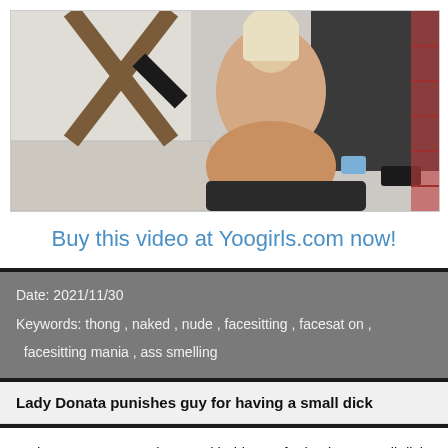[Figure (photo): A person viewed from behind, sitting on a dark cushioned surface, in a room with a mattress and wooden furniture]
Buy this video at Yoogirls.com now!
Date: 2021/11/30
Keywords:  thong ,   naked ,   nude ,   facesitting ,   facesat on ,   facesitting mania ,   ass smelling
Lady Donata punishes guy for having a small dick
Lady Donata was not happy with this guy for having a small dick. He said the right things and he did the right things but when she